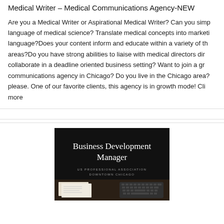Medical Writer – Medical Communications Agency-NEW
Are you a Medical Writer or Aspirational Medical Writer? Can you simplify the language of medical science? Translate medical concepts into marketing language?Does your content inform and educate within a variety of therapeutic areas?Do you have strong abilities to liaise with medical directors directly and collaborate in a deadline oriented business setting? Want to join a growing medical communications agency in Chicago? Do you live in the Chicago area? Local only please. One of our favorite clients, this agency is in growth mode! Click to read more
[Figure (infographic): Dark black background card with white serif text reading 'Business Development Manager', smaller grey uppercase text 'US PROFESSIONAL ASSOCIATION DOWNTOWN CHICAGO', and a partial image of a desk with papers and keyboard at the bottom]